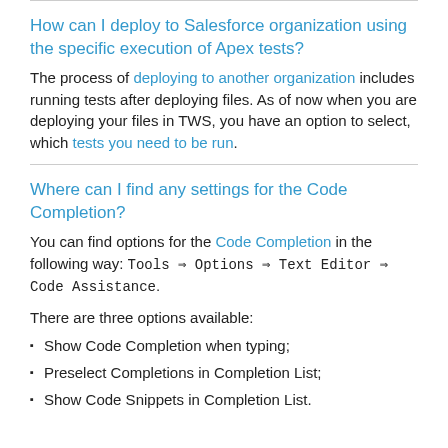How can I deploy to Salesforce organization using the specific execution of Apex tests?
The process of deploying to another organization includes running tests after deploying files. As of now when you are deploying your files in TWS, you have an option to select, which tests you need to be run.
Where can I find any settings for the Code Completion?
You can find options for the Code Completion in the following way: Tools ⇒ Options ⇒ Text Editor ⇒ Code Assistance.
There are three options available:
Show Code Completion when typing;
Preselect Completions in Completion List;
Show Code Snippets in Completion List.